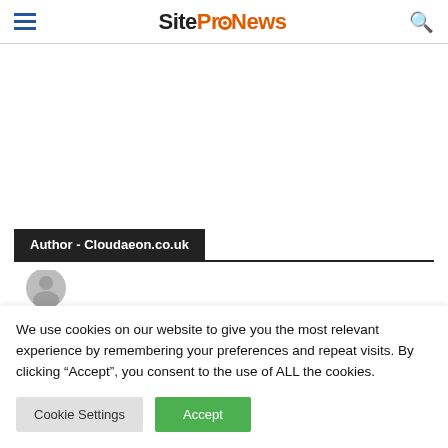SiteProNews
Author - Cloudaeon.co.uk
[Figure (illustration): Generic user avatar silhouette, grey circle with person outline]
We use cookies on our website to give you the most relevant experience by remembering your preferences and repeat visits. By clicking “Accept”, you consent to the use of ALL the cookies.